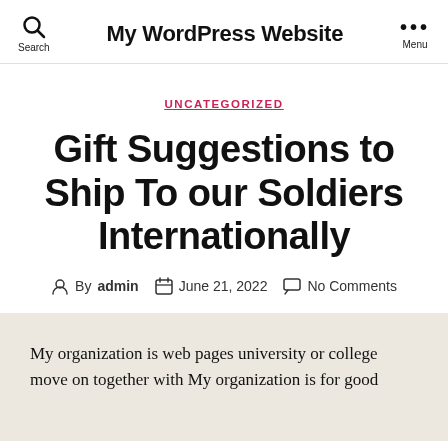My WordPress Website
UNCATEGORIZED
Gift Suggestions to Ship To our Soldiers Internationally
By admin   June 21, 2022   No Comments
My organization is web pages university or college move on together with My organization is for good